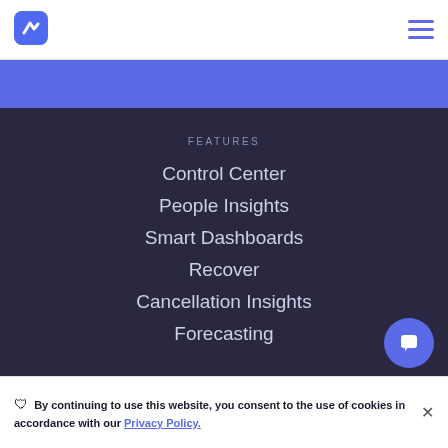[Figure (logo): Blue hexagonal logo mark with lightning bolt / chevron shape]
[Figure (illustration): Hamburger menu icon (three horizontal lines in blue)]
[Figure (illustration): Blue banner strip below header]
FEATURES
Control Center
People Insights
Smart Dashboards
Recover
Cancellation Insights
Forecasting
By continuing to use this website, you consent to the use of cookies in accordance with our Privacy Policy.